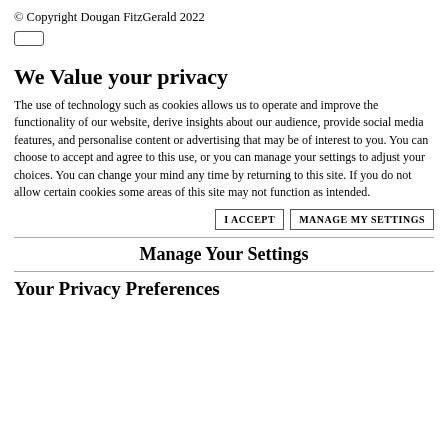© Copyright Dougan FitzGerald 2022
We Value your privacy
The use of technology such as cookies allows us to operate and improve the functionality of our website, derive insights about our audience, provide social media features, and personalise content or advertising that may be of interest to you. You can choose to accept and agree to this use, or you can manage your settings to adjust your choices. You can change your mind any time by returning to this site. If you do not allow certain cookies some areas of this site may not function as intended.
Manage Your Settings
Your Privacy Preferences